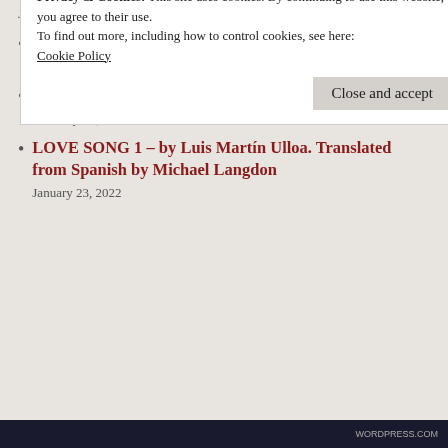July 3, 2022
DJ Saved My Life – – by Mitchell Roberts
May 8, 2022
Pennsylvania in Plain View – by Chuck Teixeira
February 12, 2022
LOVE SONG 1 – by Luis Martín Ulloa. Translated from Spanish by Michael Langdon
January 23, 2022
Privacy & Cookies: This site uses cookies. By continuing to use this website, you agree to their use.
To find out more, including how to control cookies, see here:
Cookie Policy